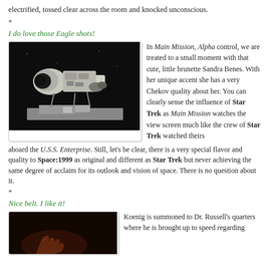electrified, tossed clear across the room and knocked unconscious.
*
I do love those Eagle shots!
[Figure (photo): A spacecraft model (Eagle from Space:1999) photographed up close against a dark background, with a lunar base structure visible below.]
In Main Mission, Alpha control, we are treated to a small moment with that cute, little brunette Sandra Benes. With her unique accent she has a very Chekov quality about her. You can clearly sense the influence of Star Trek as Main Mission watches the view screen much like the crew of Star Trek watched theirs aboard the U.S.S. Enterprise. Still, let's be clear, there is a very special flavor and quality to Space:1999 as original and different as Star Trek but never achieving the same degree of acclaim for its outlook and vision of space. There is no question about it.
*
Nice belt. I like it!
[Figure (photo): A dark, moody photograph showing a hand or object partially visible against a very dark background.]
Koenig is summoned to Dr. Russell's quarters where he is brought up to speed regarding